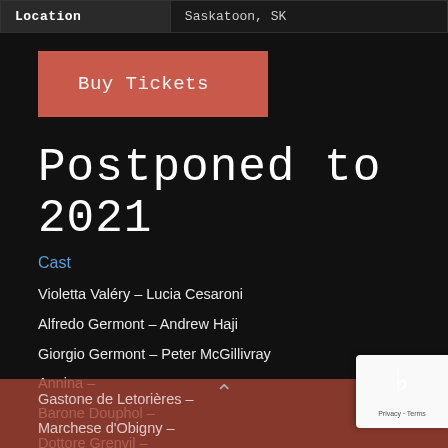| Location | Saskatoon, SK |
| --- | --- |
Buy Tickets
Postponed to 2021
Cast
Violetta Valéry – Lucia Cesaroni
Alfredo Germont – Andrew Haji
Giorgio Germont – Peter McGillivray
Annina –
Barone Douphol –
Dottore Grenvil –
Gastone de Letorières –
Marchese d'Obigny –